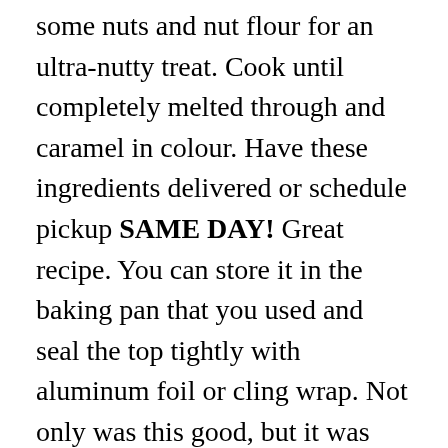some nuts and nut flour for an ultra-nutty treat. Cook until completely melted through and caramel in colour. Have these ingredients delivered or schedule pickup SAME DAY! Great recipe. You can store it in the baking pan that you used and seal the top tightly with aluminum foil or cling wrap. Not only was this good, but it was REALLY easy to put together. I made this but I made some substitutions for my family because theyâre vegan. First time commenting? Bake the tart for 45 minutes, until golden-brown. Stir until well combined. This is what makes it healthier. Can I use a round cake pan (which I also don't own, yet)? How would you recommend storing the